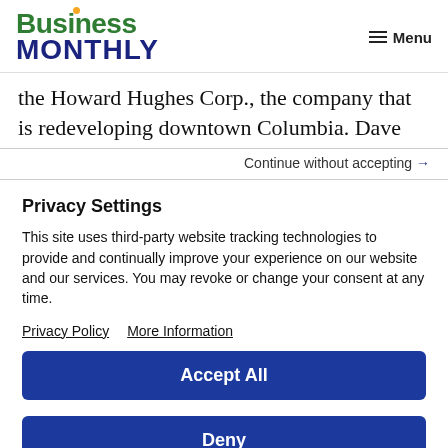[Figure (logo): Business Monthly logo with green 'Business' text and dark blue 'MONTHLY' text, with an orange dot above the 'i']
Menu
the Howard Hughes Corp., the company that is redeveloping downtown Columbia. Dave
Continue without accepting →
Privacy Settings
This site uses third-party website tracking technologies to provide and continually improve your experience on our website and our services. You may revoke or change your consent at any time.
Privacy Policy   More Information
Accept All
Deny
Powered by Usercentrics Consent Management